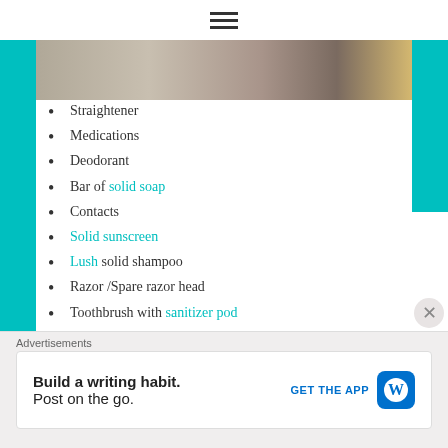☰
[Figure (photo): Partial view of a flat-lay photo showing travel/toiletry items including containers and a makeup brush on a light surface]
Straightener
Medications
Deodorant
Bar of solid soap
Contacts
Solid sunscreen
Lush solid shampoo
Razor /Spare razor head
Toothbrush with sanitizer pod
Hair Brush
Band-Aids and Q-tips
Jewelry
Makeup bag (foundation, brushes)
Advertisements
Build a writing habit. Post on the go. GET THE APP